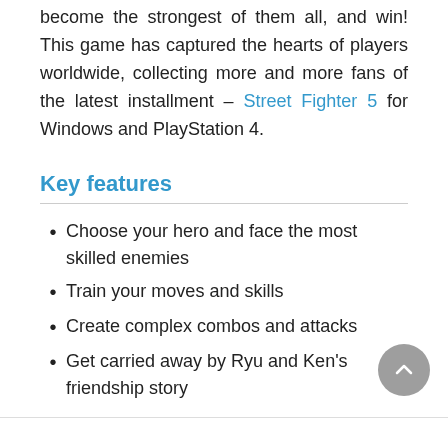become the strongest of them all, and win! This game has captured the hearts of players worldwide, collecting more and more fans of the latest installment – Street Fighter 5 for Windows and PlayStation 4.
Key features
Choose your hero and face the most skilled enemies
Train your moves and skills
Create complex combos and attacks
Get carried away by Ryu and Ken's friendship story